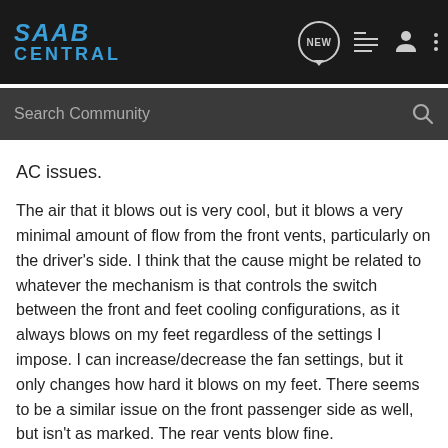SAAB CENTRAL
AC issues.
The air that it blows out is very cool, but it blows a very minimal amount of flow from the front vents, particularly on the driver's side. I think that the cause might be related to whatever the mechanism is that controls the switch between the front and feet cooling configurations, as it always blows on my feet regardless of the settings I impose. I can increase/decrease the fan settings, but it only changes how hard it blows on my feet. There seems to be a similar issue on the front passenger side as well, but isn't as marked. The rear vents blow fine.
I wasn't able to find many results about this issue and don't know cars very well, but I'm a pretty handy guy and was wondering if this was an issue I might be able to handle on my